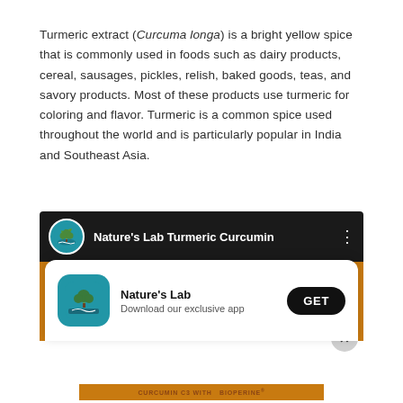Turmeric extract (Curcuma longa) is a bright yellow spice that is commonly used in foods such as dairy products, cereal, sausages, pickles, relish, baked goods, teas, and savory products. Most of these products use turmeric for coloring and flavor. Turmeric is a common spice used throughout the world and is particularly popular in India and Southeast Asia.
[Figure (screenshot): Screenshot of a YouTube video player showing 'Nature's Lab Turmeric Curcumin' with a Nature's Lab logo (circular blue icon with tree), an orange/amber thumbnail background with turmeric powder and a white pill bottle, and an overlay app install popup card showing the Nature's Lab app icon, name, tagline 'Download our exclusive app', and a 'GET' button. A close (X) button is visible. The bottom shows partial text 'CURCUMIN C3 WITH BIOPERINE'.]